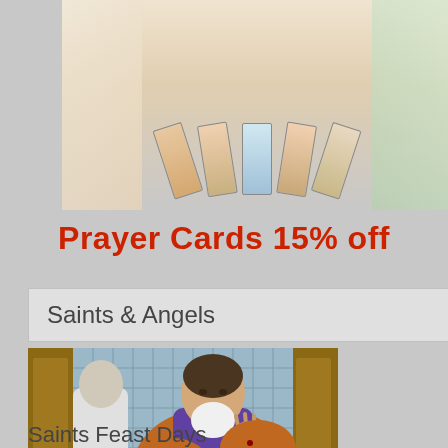[Figure (photo): A fan of Catholic prayer cards spread out on a floral background with flowers on the left and green leaves on the right]
Prayer Cards 15% off
Saints & Angels
[Figure (photo): Stained glass artwork depicting Saint Padre Pio in prayer, wearing brown and purple robes, with his hands raised, showing stigmata]
Saints Feast Days